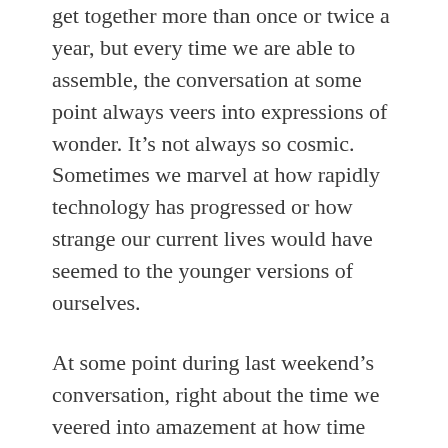get together more than once or twice a year, but every time we are able to assemble, the conversation at some point always veers into expressions of wonder. It’s not always so cosmic. Sometimes we marvel at how rapidly technology has progressed or how strange our current lives would have seemed to the younger versions of ourselves.
At some point during last weekend’s conversation, right about the time we veered into amazement at how time slows near black holes, one of my friends remarked, “Oh man, how many times have we had this conversation?”
To which another friend replied, “It’s a good conversation to have from time to time.”
I’ve been thinking about that ever since. How we need to